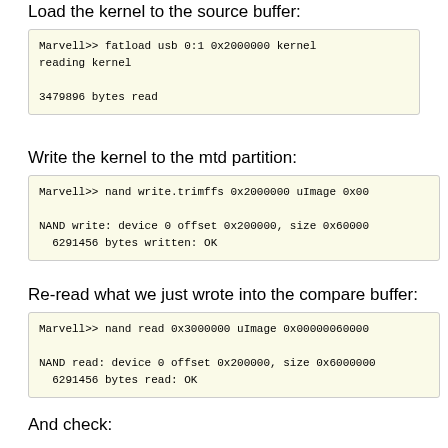Load the kernel to the source buffer:
Marvell>> fatload usb 0:1 0x2000000 kernel
reading kernel

3479896 bytes read
Write the kernel to the mtd partition:
Marvell>> nand write.trimffs 0x2000000 uImage 0x00

NAND write: device 0 offset 0x200000, size 0x60000
  6291456 bytes written: OK
Re-read what we just wrote into the compare buffer:
Marvell>> nand read 0x3000000 uImage 0x000000600000

NAND read: device 0 offset 0x200000, size 0x600000
  6291456 bytes read: OK
And check: